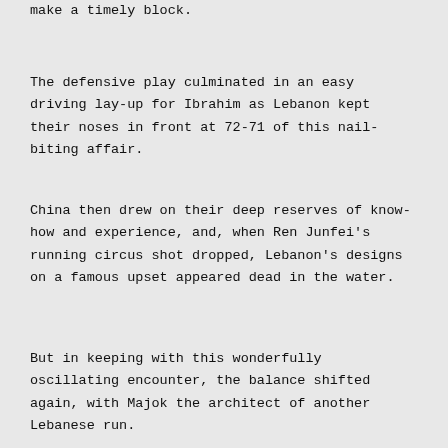make a timely block.
The defensive play culminated in an easy driving lay-up for Ibrahim as Lebanon kept their noses in front at 72-71 of this nail-biting affair.
China then drew on their deep reserves of know-how and experience, and, when Ren Junfei's running circus shot dropped, Lebanon's designs on a famous upset appeared dead in the water.
But in keeping with this wonderfully oscillating encounter, the balance shifted again, with Majok the architect of another Lebanese run.